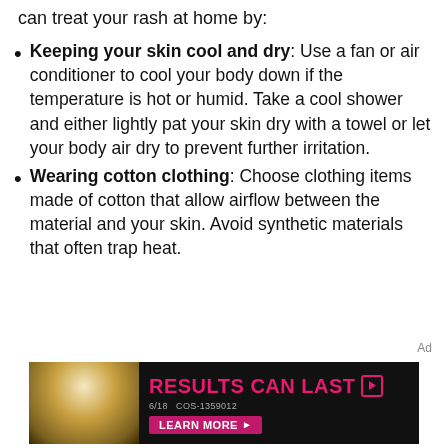Depending on the severity of your heat rash, you can treat your rash at home by:
Keeping your skin cool and dry: Use a fan or air conditioner to cool your body down if the temperature is hot or humid. Take a cool shower and either lightly pat your skin dry with a towel or let your body air dry to prevent further irritation.
Wearing cotton clothing: Choose clothing items made of cotton that allow airflow between the material and your skin. Avoid synthetic materials that often trap heat.
[Figure (other): Advertisement banner showing a woman with text 'RESULTS CAN LAST' in pink and a 'LEARN MORE' button. Code: 6/18 COS-1359012]